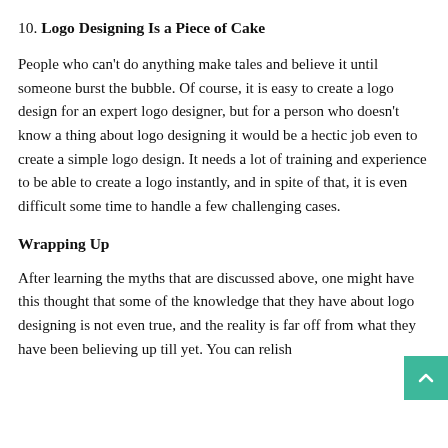10. Logo Designing Is a Piece of Cake
People who can't do anything make tales and believe it until someone burst the bubble. Of course, it is easy to create a logo design for an expert logo designer, but for a person who doesn't know a thing about logo designing it would be a hectic job even to create a simple logo design. It needs a lot of training and experience to be able to create a logo instantly, and in spite of that, it is even difficult some time to handle a few challenging cases.
Wrapping Up
After learning the myths that are discussed above, one might have this thought that some of the knowledge that they have about logo designing is not even true, and the reality is far off from what they have been believing up till yet. You can relish